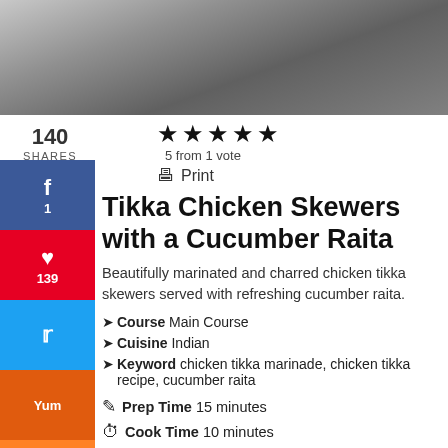[Figure (photo): Photo of chicken tikka skewers on a board, partially cropped]
140
SHARES
★★★★★
5 from 1 vote
Print
Tikka Chicken Skewers with a Cucumber Raita
Beautifully marinated and charred chicken tikka skewers served with refreshing cucumber raita.
Course Main Course
Cuisine Indian
Keyword chicken tikka marinade, chicken tikka recipe, cucumber raita
Prep Time 15 minutes
Cook Time 10 minutes
Total Time 25 minutes